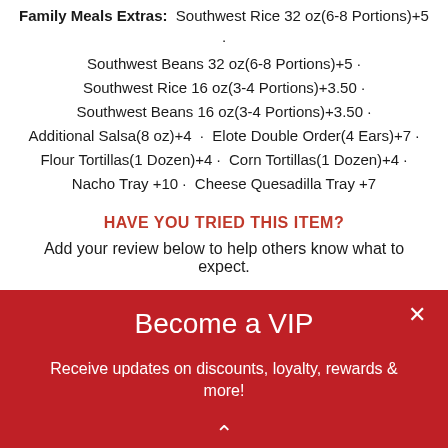Family Meals Extras: Southwest Rice 32 oz(6-8 Portions)+5 · Southwest Beans 32 oz(6-8 Portions)+5 · Southwest Rice 16 oz(3-4 Portions)+3.50 · Southwest Beans 16 oz(3-4 Portions)+3.50 · Additional Salsa(8 oz)+4 · Elote Double Order(4 Ears)+7 · Flour Tortillas(1 Dozen)+4 · Corn Tortillas(1 Dozen)+4 · Nacho Tray+10 · Cheese Quesadilla Tray+7
HAVE YOU TRIED THIS ITEM?
Add your review below to help others know what to expect.
[Figure (infographic): Red VIP banner popup with close button (×), title 'Become a VIP', subtitle 'Receive updates on discounts, loyalty, rewards & more!', and an upward chevron arrow at the bottom.]